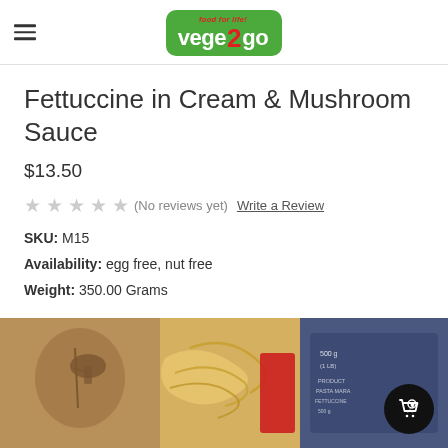vege2go — food for life!
Fettuccine in Cream & Mushroom Sauce
$13.50
★★★★★ (No reviews yet)  Write a Review
SKU: M15
Availability: egg free, nut free
Weight: 350.00 Grams
[Figure (photo): Product photo of Fettuccine in Cream & Mushroom Sauce showing pasta noodles, mushrooms, and packaging]